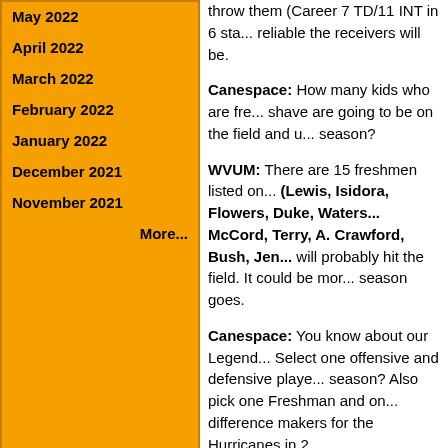May 2022
April 2022
March 2022
February 2022
January 2022
December 2021
November 2021
More...
throw them (Career 7 TD/11 INT in 6 sta... reliable the receivers will be.
Canespace: How many kids who are fre... shave are going to be on the field and un... season?
WVUM: There are 15 freshmen listed on... (Lewis, Isidora, Flowers, Duke, Waters... McCord, Terry, A. Crawford, Bush, Jen... will probably hit the field. It could be mor... season goes.
Canespace: You know about our Legend... Select one offensive and defensive playe... season? Also pick one Freshman and on... difference makers for the Hurricanes in 2...
WVUM: For break-out I imagine on offen... I think it will be Shayon Green. Allen ha... but for the most part was overshadowed... think this year he's probably your numbe... receiver and he will play well in the role.... coaches favorites and has kept the black... reason the coaches like him and I think...